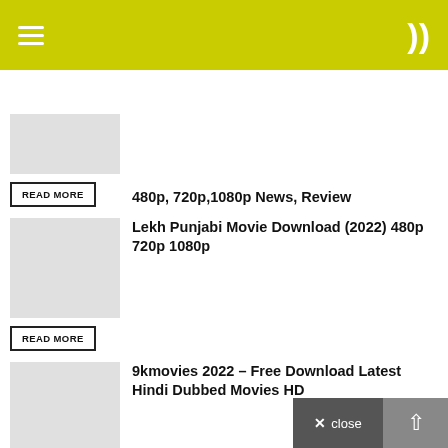Navigation header with hamburger menu and moon/dark mode icon
480p, 720p,1080p News, Review
READ MORE
Lekh Punjabi Movie Download (2022) 480p 720p 1080p
READ MORE
9kmovies 2022 – Free Download Latest Hindi Dubbed Movies HD
READ MORE
Eternals (2021) full Movie download News, Review